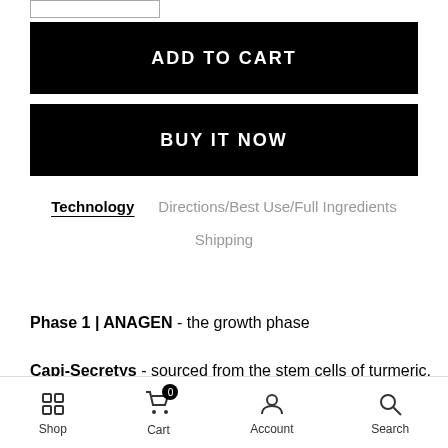ADD TO CART
BUY IT NOW
Technology   Directions/Best Use/Full Ingredients   Shipping
Phase 1 | ANAGEN - the growth phase
Capi-Secretys - sourced from the stem cells of turmeric. Works
Shop   Cart 0   Account   Search